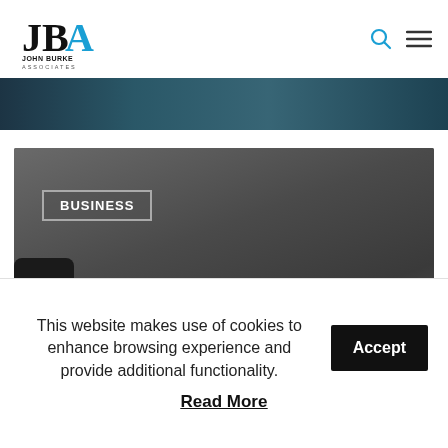John Burke Associates
[Figure (photo): Partial banner image strip at top showing a dark teal/blue industrial or architectural scene]
[Figure (photo): Dark gray card image block with BUSINESS category tag and date October 19, 2021, with partial black phone device visible at bottom left]
This website makes use of cookies to enhance browsing experience and provide additional functionality.
Accept
Read More